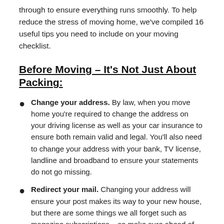through to ensure everything runs smoothly. To help reduce the stress of moving home, we've compiled 16 useful tips you need to include on your moving checklist.
Before Moving – It's Not Just About Packing:
Change your address. By law, when you move home you're required to change the address on your driving license as well as your car insurance to ensure both remain valid and legal. You'll also need to change your address with your bank, TV license, landline and broadband to ensure your statements do not go missing.
Redirect your mail. Changing your address will ensure your post makes its way to your new house, but there are some things we all forget such as magazine subscriptions – so make sure ahead of moving you visit the Royal Mail website and arrange for your post to be redirected.
Contact your utility providers. Ahead of your move, contact your utility providers – including gas, electricity, broadband, and landline –